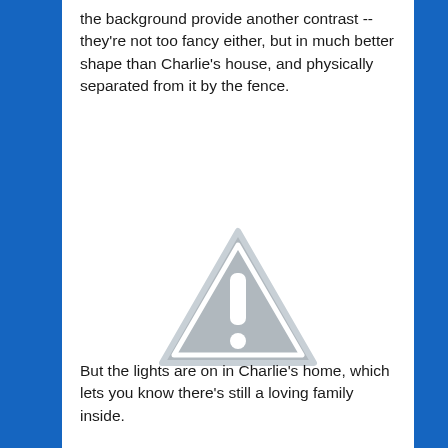the background provide another contrast -- they're not too fancy either, but in much better shape than Charlie's house, and physically separated from it by the fence.
[Figure (other): A grey warning/caution triangle icon with an exclamation mark, centered on a white background. The triangle has a light grey fill with a white border and a white exclamation mark symbol inside.]
But the lights are on in Charlie's home, which lets you know there's still a loving family inside.